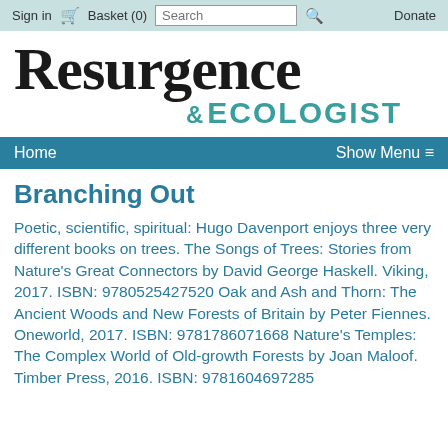Sign in  Basket (0)  Search  Donate
Resurgence & ECOLOGIST
Home  Show Menu ≡
Branching Out
Poetic, scientific, spiritual: Hugo Davenport enjoys three very different books on trees. The Songs of Trees: Stories from Nature's Great Connectors by David George Haskell. Viking, 2017. ISBN: 9780525427520 Oak and Ash and Thorn: The Ancient Woods and New Forests of Britain by Peter Fiennes. Oneworld, 2017. ISBN: 9781786071668 Nature's Temples: The Complex World of Old-growth Forests by Joan Maloof. Timber Press, 2016. ISBN: 9781604697285